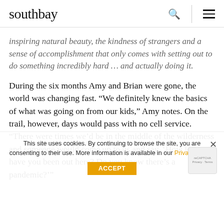southbay
inspiring natural beauty, the kindness of strangers and a sense of accomplishment that only comes with setting out to do something incredibly hard … and actually doing it.
During the six months Amy and Brian were gone, the world was changing fast. “We definitely knew the basics of what was going on from our kids,” Amy notes. On the trail, however, days would pass with no cell service. “There were times we’d be in the middle of the wilderness and someone would come up to us and say, ‘How long have you been out here? Do you know there’s a pandemic?’”
This site uses cookies. By continuing to browse the site, you are consenting to their use. More information is available in our Privacy Policy.